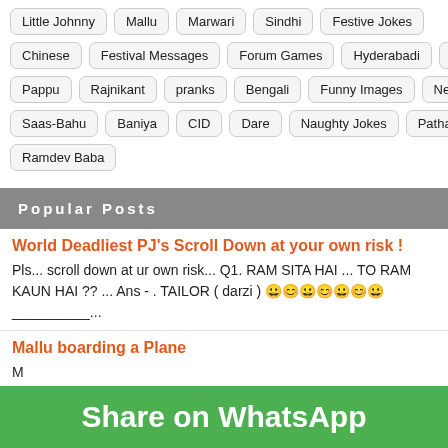Little Johnny | Mallu | Marwari | Sindhi | Festive Jokes
Chinese | Festival Messages | Forum Games | Hyderabadi | IIN
Pappu | Rajnikant | pranks | Bengali | Funny Images | Nepali
Saas-Bahu | Baniya | CID | Dare | Naughty Jokes | Pathan
Ramdev Baba
Popular Posts
World Deadliest PJ's Scroll Down at your own risk !
Pls... scroll down at ur own risk... Q1. RAM SITA HAI ... TO RAM KAUN HAI ?? ... Ans - . TAILOR ( darzi ) 😀😀😀😀😀😀😀 __________...
Mallu boarding a Plane
Share on WhatsApp